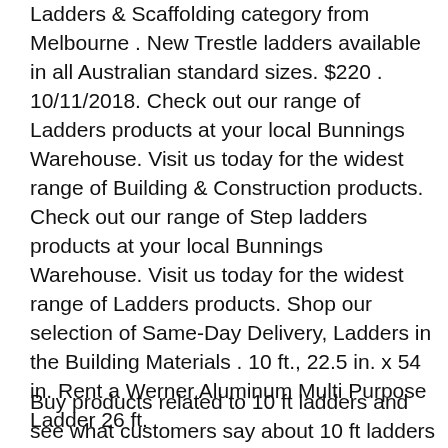Ladders & Scaffolding category from Melbourne . New Trestle ladders available in all Australian standard sizes. $220 . 10/11/2018. Check out our range of Ladders products at your local Bunnings Warehouse. Visit us today for the widest range of Building & Construction products. Check out our range of Step ladders products at your local Bunnings Warehouse. Visit us today for the widest range of Ladders products. Shop our selection of Same-Day Delivery, Ladders in the Building Materials . 10 ft., 22.5 in. x 54 in. Rent a Werner Aluminum Multi Purpose Ladder 26 ft.
Buy products related to 10 ft ladders and see what customers say about 10 ft ladders on Amazon.com ✓